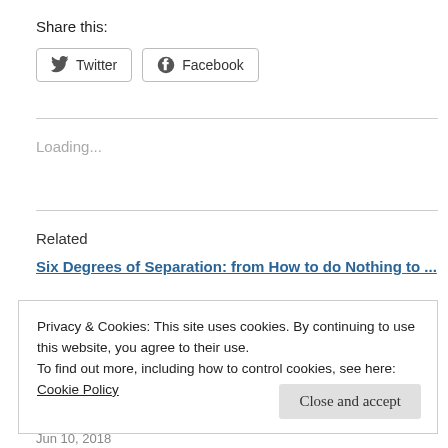Share this:
[Figure (screenshot): Twitter and Facebook share buttons with icons]
Loading...
Related
Six Degrees of Separation: from How to do Nothing to ...
Privacy & Cookies: This site uses cookies. By continuing to use this website, you agree to their use.
To find out more, including how to control cookies, see here:
Cookie Policy
Close and accept
Jun 10, 2018